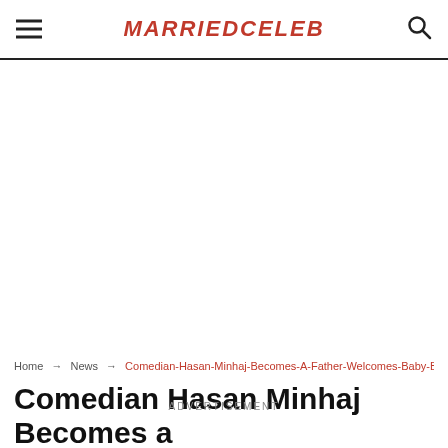MARRIEDCELEB
[Figure (other): Advertisement / blank white space area]
Home → News → Comedian-Hasan-Minhaj-Becomes-A-Father-Welcomes-Baby-B...
Comedian Hasan Minhaj Becomes a Father Welcomes Baby Boy Together
ADVERTISEMENT